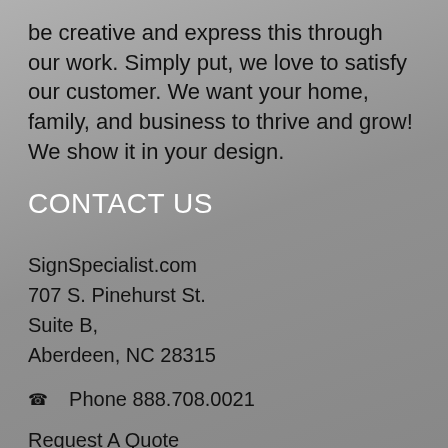be creative and express this through our work. Simply put, we love to satisfy our customer. We want your home, family, and business to thrive and grow! We show it in your design.
CONTACT US
SignSpecialist.com
707 S. Pinehurst St.
Suite B,
Aberdeen, NC 28315
☎ Phone 888.708.0021
Request A Quote